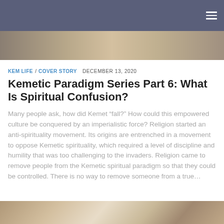[Figure (photo): Top navigation bar with dark slate-gray background and hamburger menu icon in the top-right corner, with a partial photo of a person visible below]
KEM LIFE / COVER STORY  DECEMBER 13, 2020
Kemetic Paradigm Series Part 6: What Is Spiritual Confusion?
Many people ask, how did Kemet “fall?” How could this empowered culture be conquered by an imperialistic force? Religion started an anti-spirituality movement. Its origins are entrenched in a movement to oppose Kemetic spirituality, which required a level of discipline and humility that was too challenging to the invaders. Religion came to remove people from the Kemetic spiritual paradigm so that they could be controlled. There is no way to remove someone from a true…
[Figure (photo): Bottom partial photo showing people, cropped at the bottom of the page]